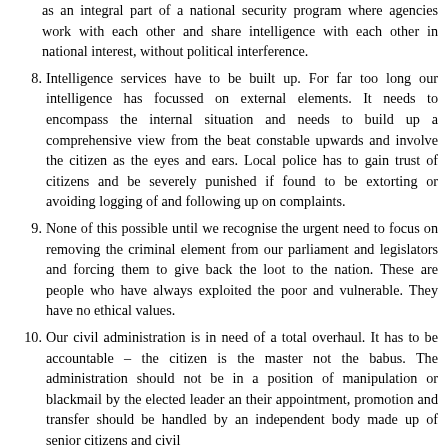(continued) as an integral part of a national security program where agencies work with each other and share intelligence with each other in national interest, without political interference.
8. Intelligence services have to be built up. For far too long our intelligence has focussed on external elements. It needs to encompass the internal situation and needs to build up a comprehensive view from the beat constable upwards and involve the citizen as the eyes and ears. Local police has to gain trust of citizens and be severely punished if found to be extorting or avoiding logging of and following up on complaints.
9. None of this possible until we recognise the urgent need to focus on removing the criminal element from our parliament and legislators and forcing them to give back the loot to the nation. These are people who have always exploited the poor and vulnerable. They have no ethical values.
10. Our civil administration is in need of a total overhaul. It has to be accountable – the citizen is the master not the babus. The administration should not be in a position of manipulation or blackmail by the elected leader an their appointment, promotion and transfer should be handled by an independent body made up of senior citizens and civil